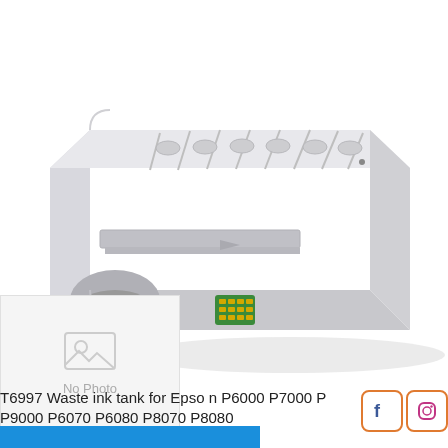[Figure (photo): Epson T6997 waste ink tank/maintenance box, light gray rectangular plastic unit with ink pads visible on top and a chip contact on the front face, shown in 3/4 perspective view on white background.]
[Figure (photo): No Photo placeholder thumbnail with image icon and text 'No Photo']
T6997 Waste ink tank for Epson P6000 P7000 P P9000 P6070 P6080 P8070 P8080